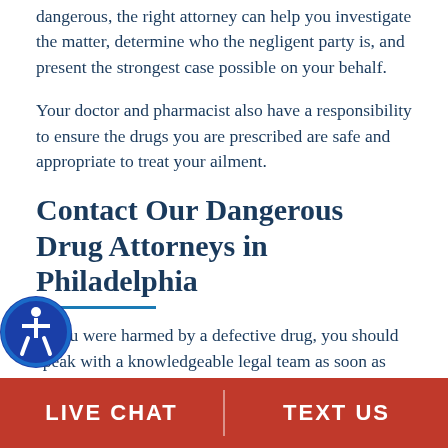dangerous, the right attorney can help you investigate the matter, determine who the negligent party is, and present the strongest case possible on your behalf.
Your doctor and pharmacist also have a responsibility to ensure the drugs you are prescribed are safe and appropriate to treat your ailment.
Contact Our Dangerous Drug Attorneys in Philadelphia
If you were harmed by a defective drug, you should speak with a knowledgeable legal team as soon as possible. You may be eligible for compensation that can assist with the financial burdens associated with your
LIVE CHAT | TEXT US